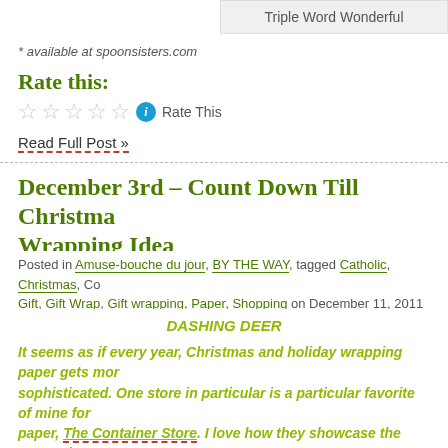Triple Word Wonderful
* available at spoonsisters.com
Rate this:
Rate This
Read Full Post »
December 3rd – Count Down Till Christmas Wrapping Idea
Posted in Amuse-bouche du jour, BY THE WAY, tagged Catholic, Christmas, Co... Gift, Gift Wrap, Gift wrapping, Paper, Shopping on December 11, 2011 | Leave
DASHING DEER
It seems as if every year, Christmas and holiday wrapping paper gets mor sophisticated.  One store in particular is a particular favorite of mine for paper, The Container Store.  I love how they showcase the papers by group various color categories and they have tons to pick from.
I like this particular choice of wrapping paper because it is a slightly-off-